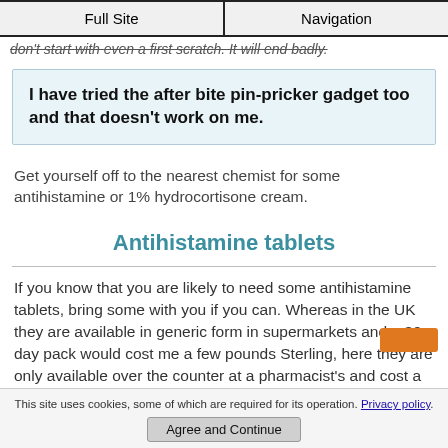Full Site | Navigation
don't start with even a first scratch. It will end badly.
I have tried the after bite pin-pricker gadget too and that doesn't work on me.
Get yourself off to the nearest chemist for some antihistamine or 1% hydrocortisone cream.
Antihistamine tablets
If you know that you are likely to need some antihistamine tablets, bring some with you if you can. Whereas in the UK they are available in generic form in supermarkets and a 30 day pack would cost me a few pounds Sterling, here they are only available over the counter at a pharmacist's and cost a whole lot more.
This site uses cookies, some of which are required for its operation. Privacy policy.
Agree and Continue